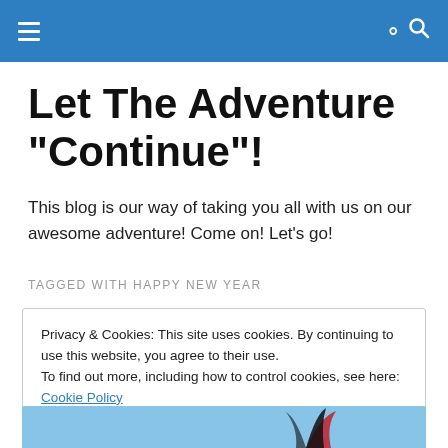Navigation menu and search icon
Let The Adventure "Continue"!
This blog is our way of taking you all with us on our awesome adventure! Come on! Let's go!
TAGGED WITH HAPPY NEW YEAR
Privacy & Cookies: This site uses cookies. By continuing to use this website, you agree to their use.
To find out more, including how to control cookies, see here: Cookie Policy
Close and accept
[Figure (photo): Bottom strip showing a partial photo with blue sky background and a dark decorative element]